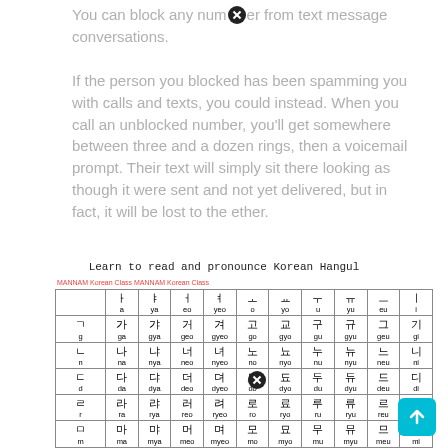You can block any number from text message conversations.
If the person you blocked has been spamming you with calls and texts, you could instead. When you call an unblocked number, you'll get somewhere between three and a dozen rings, then a voicemail prompt. Their text will simply sit there looking as though it were sent and not yet delivered, but in fact, it will be lost to the ether.
Learn to read and pronounce Korean Hangul
|  | ㅏ a | ㅑ ya | ㅓ eo | ㅕ yeo | ㅗ o | ㅛ yo | ㅜ u | ㅠ yu | ㅡ eu | ㅣ i |
| --- | --- | --- | --- | --- | --- | --- | --- | --- | --- | --- |
| ㄱ g | 가 ga | 갸 gya | 거 geo | 겨 gyeo | 고 go | 교 gyo | 구 gu | 규 gyu | 그 geu | 기 gi |
| ㄴ n | 나 na | 냐 nya | 너 neo | 녀 nyeo | 노 no | 뇨 nyo | 누 nu | 뉴 nyu | 느 neu | 니 ni |
| ㄷ d | 다 da | 댜 dya | 더 deo | 뎌 dyeo | 도 do | 됴 dyo | 두 du | 듀 dyu | 드 deu | 디 di |
| ㄹ r | 라 ra | 랴 rya | 러 reo | 려 ryeo | 로 ro | 료 ryo | 루 ru | 류 ryu | 르 reu | 리 ri |
| ㅁ m | 마 ma | 먀 mya | 머 meo | 며 myeo | 모 mo | 묘 myo | 무 mu | 뮤 myu | 므 meu | 미 mi |